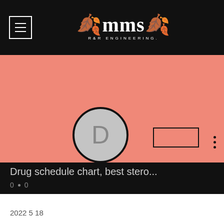MMS R&R ENGINEERING
[Figure (illustration): Salmon/pink banner background with profile avatar circle showing letter D, a rectangular follow button outline, and three vertical dots menu icon]
Drug schedule chart, best stero...
0 • 0
∨
2022 5 18